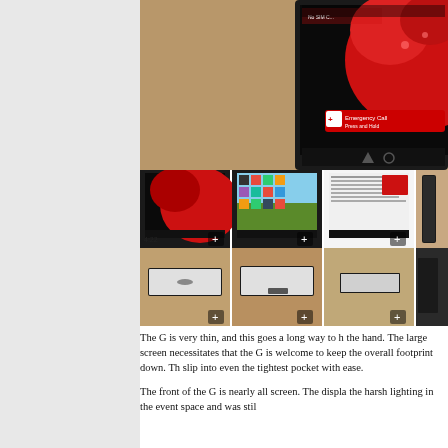[Figure (photo): Large photo of a hand holding an LG G smartphone showing the lock screen with a red maple leaf wallpaper and Emergency Call button visible]
[Figure (photo): Grid of 8 thumbnail photos showing various views of the LG G smartphone - front screens, side profiles, and thickness shots, each with a zoom/plus icon in the corner]
The G is very thin, and this goes a long way to h the hand. The large screen necessitates that the G is welcome to keep the overall footprint down. Th slip into even the tightest pocket with ease.
The front of the G is nearly all screen. The displa the harsh lighting in the event space and was stil